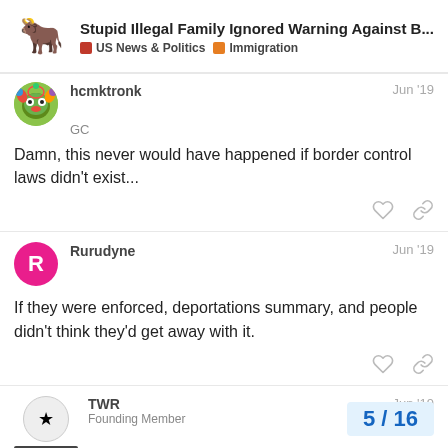Stupid Illegal Family Ignored Warning Against B... | US News & Politics | Immigration
hcmktronk
GC
Jun '19
Damn, this never would have happened if border control laws didn't exist...
Rurudyne
Jun '19
If they were enforced, deportations summary, and people didn't think they'd get away with it.
TWR
Founding Member
Jun '19
5 / 16